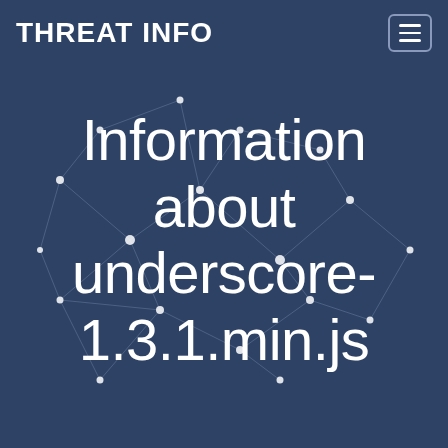THREAT INFO
[Figure (illustration): Dark blue background with a network graph pattern showing white interconnected nodes and lines, resembling a neural or cyber network visualization]
Information about underscore-1.3.1.min.js